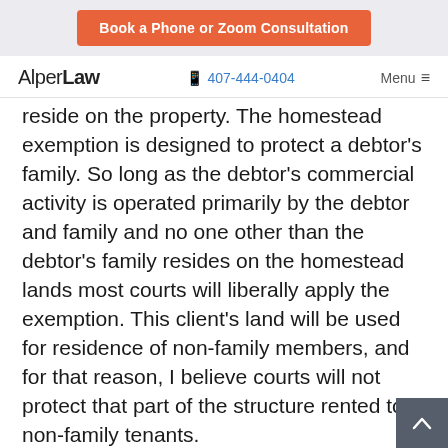[Figure (other): Orange button: Book a Phone or Zoom Consultation]
AlperLaw   407-444-0404   Menu
reside on the property. The homestead exemption is designed to protect a debtor’s family. So long as the debtor’s commercial activity is operated primarily by the debtor and family and no one other than the debtor’s family resides on the homestead lands most courts will liberally apply the exemption. This client’s land will be used for residence of non-family members, and for that reason, I believe courts will not protect that part of the structure rented to non-family tenants.
I believe the likely result is for the court to order the forced sale of the entire property and grant the